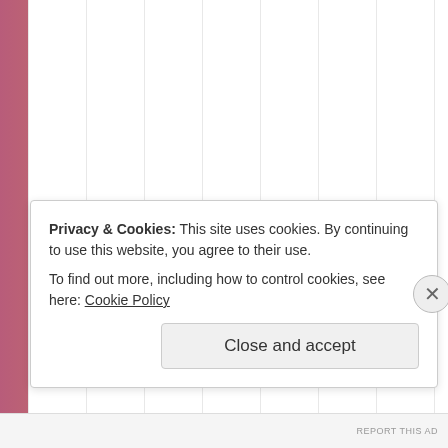[Figure (screenshot): Website screenshot with colorful floral/garden background on left and right edges, and a white content panel with vertical line grid pattern in the center. On the right side partially visible: a small icon, bold red text 'AQUI' (truncated), red date text 'Nove' (truncated), '25, 20' (truncated), '4:38' (truncated).]
Privacy & Cookies: This site uses cookies. By continuing to use this website, you agree to their use.
To find out more, including how to control cookies, see here: Cookie Policy
REPORT THIS AD